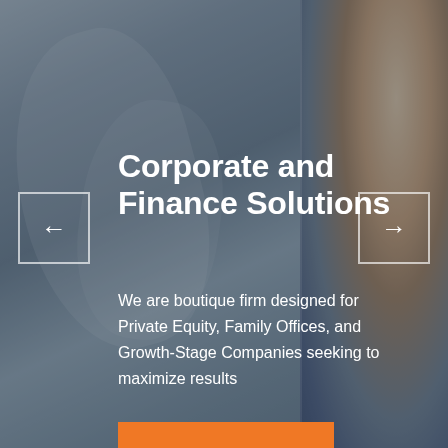[Figure (photo): Background image split in two panels: left side shows a blurred office/business meeting scene with people shaking hands, right side shows a close-up of a smiling man with beard. Dark overlay covers both panels.]
Corporate and Finance Solutions
We are boutique firm designed for Private Equity, Family Offices, and Growth-Stage Companies seeking to maximize results